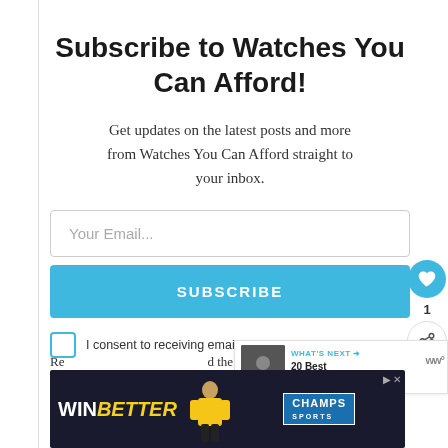Subscribe to Watches You Can Afford!
Get updates on the latest posts and more from Watches You Can Afford straight to your inbox.
Your Email...
SUBSCRIBE
I consent to receiving emails and persona...
[Figure (screenshot): Ad banner: WIN BETTER text with CHAMPS SPORTS logo, basketball player image]
Re... d the...